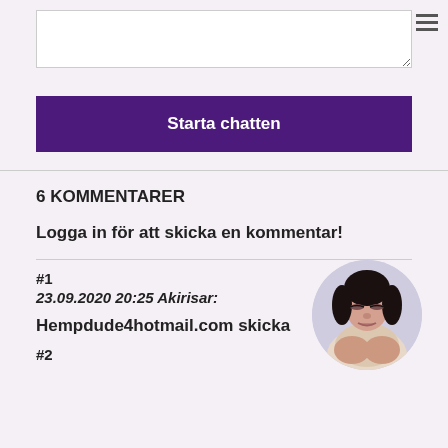[Figure (other): Text input textarea with resize handle]
Starta chatten
6 KOMMENTARER
Logga in för att skicka en kommentar!
#1
23.09.2020 20:25 Akirisar:
Hempdude4hotmail.com skicka
[Figure (photo): Circular avatar photo of a dark-haired woman]
#2